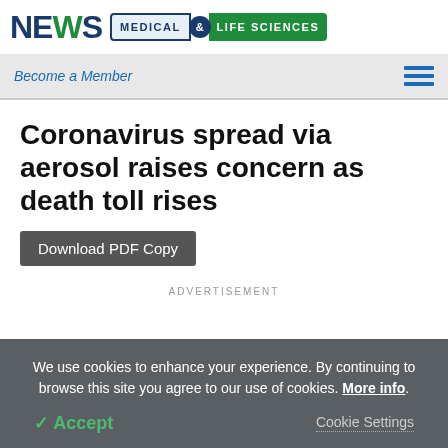NEWS MEDICAL & LIFE SCIENCES
Become a Member
Coronavirus spread via aerosol raises concern as death toll rises
Download PDF Copy
ADVERTISEMENT
We use cookies to enhance your experience. By continuing to browse this site you agree to our use of cookies. More info.
✓ Accept
Cookie Settings